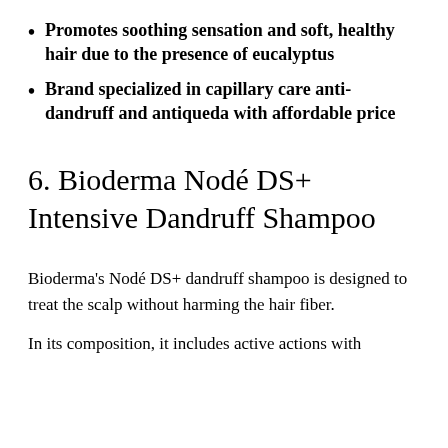Promotes soothing sensation and soft, healthy hair due to the presence of eucalyptus
Brand specialized in capillary care anti-dandruff and antiqueda with affordable price
6. Bioderma Nodé DS+ Intensive Dandruff Shampoo
Bioderma's Nodé DS+ dandruff shampoo is designed to treat the scalp without harming the hair fiber.
In its composition, it includes active actions with